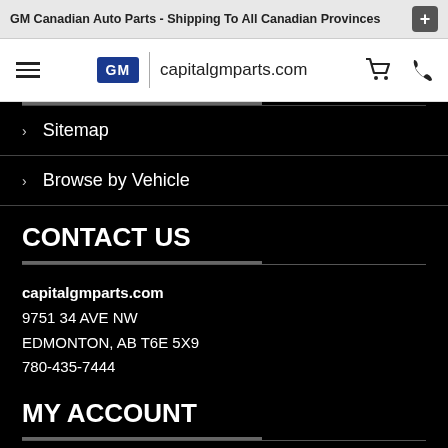GM Canadian Auto Parts - Shipping To All Canadian Provinces
[Figure (screenshot): Website navigation bar with hamburger menu, GM logo, capitalgmparts.com text, shopping cart icon, and phone icon]
Sitemap
Browse by Vehicle
CONTACT US
capitalgmparts.com
9751 34 AVE NW
EDMONTON, AB T6E 5X9
780-435-7444
MY ACCOUNT
My Account